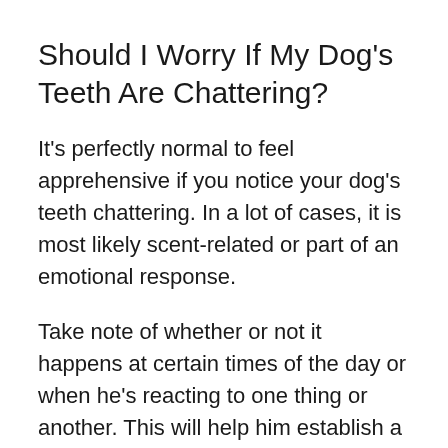Should I Worry If My Dog's Teeth Are Chattering?
It's perfectly normal to feel apprehensive if you notice your dog's teeth chattering. In a lot of cases, it is most likely scent-related or part of an emotional response.
Take note of whether or not it happens at certain times of the day or when he's reacting to one thing or another. This will help him establish a pattern.